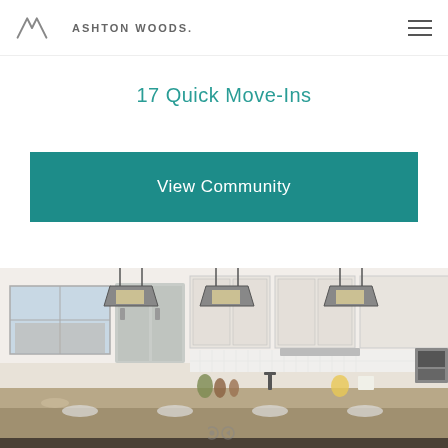Ashton Woods.
17 Quick Move-Ins
View Community
[Figure (photo): Interior kitchen photo showing white cabinetry, stainless steel appliances, pendant lantern lights, a kitchen island with place settings, and a white tile backsplash.]